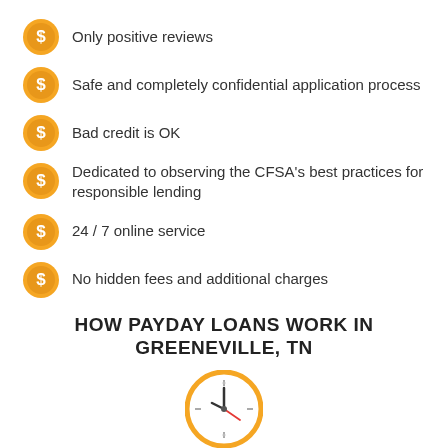Only positive reviews
Safe and completely confidential application process
Bad credit is OK
Dedicated to observing the CFSA's best practices for responsible lending
24 / 7 online service
No hidden fees and additional charges
HOW PAYDAY LOANS WORK IN GREENEVILLE, TN
[Figure (illustration): Orange clock icon]
Step 1
Fill out our fast, easy and safe payday loan application